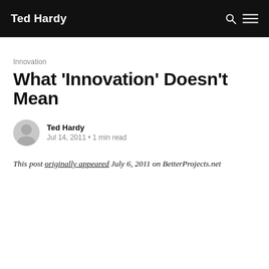Ted Hardy
Innovation
What 'Innovation' Doesn't Mean
Ted Hardy
Jul 14, 2011 • 1 min read
This post originally appeared July 6, 2011 on BetterProjects.net